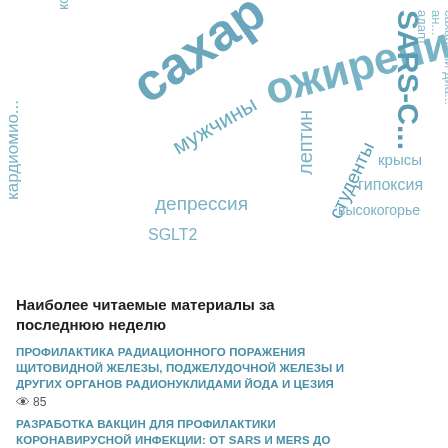[Figure (infographic): Word cloud in Russian/Latin with medical terms: сахарный (large), ожирение (large), SARS-C... (partial), кардиомиш..., ко..., мужчины, депрессия, SGLT2, лептин, студенты, крысы, гипоксия, высокогорье, адапт..., ан..., сахарный диа...]
Наиболее читаемые материалы за последнюю неделю
ПРОФИЛАКТИКА РАДИАЦИОННОГО ПОРАЖЕНИЯ ЩИТОВИДНОЙ ЖЕЛЕЗЫ, ПОДЖЕЛУДОЧНОЙ ЖЕЛЕЗЫ И ДРУГИХ ОРГАНОВ РАДИОНУКЛИДАМИ ЙОДА И ЦЕЗИЯ — 85 views
РАЗРАБОТКА ВАКЦИН ДЛЯ ПРОФИЛАКТИКИ КОРОНАВИРУСНОЙ ИНФЕКЦИИ: ОТ SARS И MERS ДО COVID-19 — 55 views
ЭКСПЕРИМЕНТАЛЬНЫЕ МОДЕЛИ АЛИМЕНТАРНОГО...